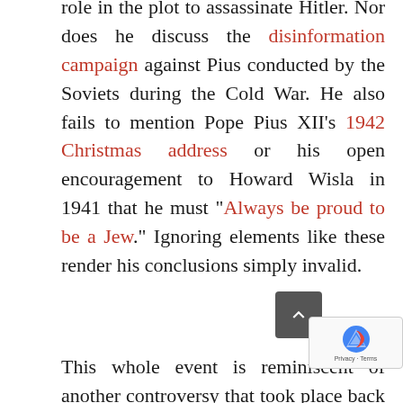role in the plot to assassinate Hitler. Nor does he discuss the disinformation campaign against Pius conducted by the Soviets during the Cold War. He also fails to mention Pope Pius XII's 1942 Christmas address or his open encouragement to Howard Wisla in 1941 that he must "Always be proud to be a Jew." Ignoring elements like these render his conclusions simply invalid.
This whole event is reminiscent of another controversy that took place back in 2 when The New York Times and c publications reported on the discovery of a